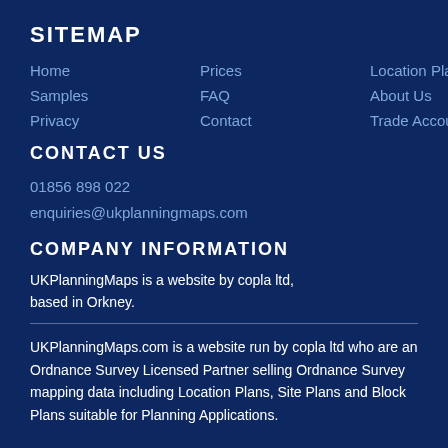SITEMAP
Home
Prices
Location Plan
Site Plan
Samples
FAQ
About Us
T&C's
Privacy
Contact
Trade Accounts
CAD Maps
CONTACT US
01856 898 022
enquiries@ukplanningmaps.com
COMPANY INFORMATION
UKPlanningMaps is a website by copla ltd, based in Orkney.
UKPlanningMaps.com is a website run by copla ltd who are an Ordnance Survey Licensed Partner selling Ordnance Survey mapping data including Location Plans, Site Plans and Block Plans suitable for Planning Applications.